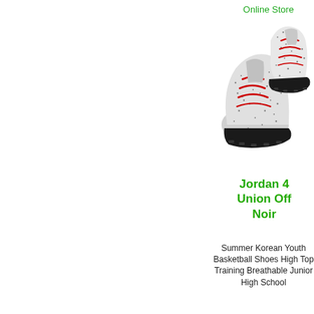Online Store
[Figure (photo): Two speckled black-and-white basketball shoes with red laces, viewed from above and slightly to the side, with black soles.]
Jordan 4 Union Off Noir
Summer Korean Youth Basketball Shoes High Top Training Breathable Junior High School